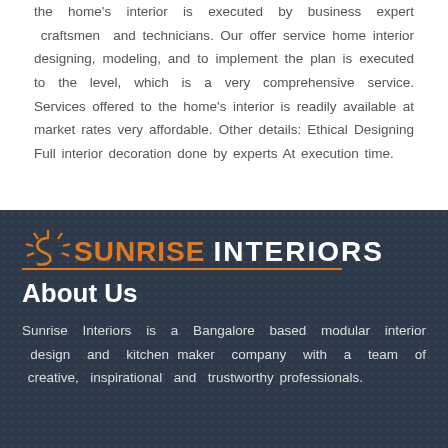the home's interior is executed by business expert craftsmen and technicians. Our offer service home interior designing, modeling, and to implement the plan is executed to the level, which is a very comprehensive service. Services offered to the home's interior is readily available at market rates very affordable. Other details: Ethical Designing Full interior decoration done by experts At execution time.
[Figure (logo): Sunrise Interiors logo with sun icon, orange 'SUNRISE' text and white 'INTERIORS' text on dark navy background with dot pattern]
About Us
Sunrise Interiors is a Bangalore based modular interior design and kitchen maker company with a team of creative, inspirational and trustworthy professionals.